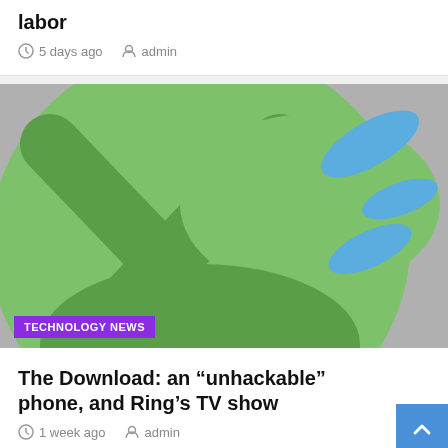labor
5 days ago  admin
[Figure (illustration): Abstract colorful illustration with green and blue shapes on a gray background, with a purple TECHNOLOGY NEWS badge overlay]
TECHNOLOGY NEWS
The Download: an “unhackable” phone, and Ring’s TV show
1 week ago  admin
[Figure (photo): Top portion of a person's head with dark hair and what appears to be blue headphones, partially visible at the bottom of the page]